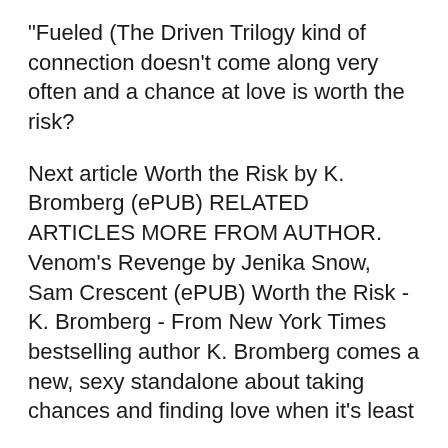"Fueled (The Driven Trilogy kind of connection doesn’t come along very often and a chance at love is worth the risk?
Next article Worth the Risk by K. Bromberg (ePUB) RELATED ARTICLES MORE FROM AUTHOR. Venom’s Revenge by Jenika Snow, Sam Crescent (ePUB) Worth the Risk - K. Bromberg - From New York Times bestselling author K. Bromberg comes a new, sexy standalone about taking chances and finding love when it’s least
Worth the Risk - K. Bromberg - From New York Times bestselling author K. Bromberg comes a new, sexy